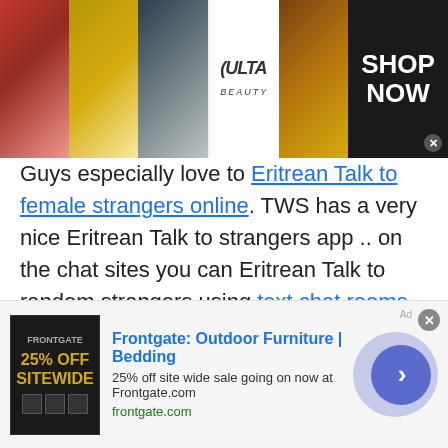[Figure (photo): Top advertisement banner for ULTA Beauty showing makeup images (lips, brush, eye) and ULTA logo with 'SHOP NOW' text on black background]
Guys especially love to Eritrean Talk to female strangers online. TWS has a very nice Eritrean Talk to strangers app .. on the chat sites you can Eritrean Talk to random strangers using text chat rooms or you can Eritrean Talk to strangers in video in the video chat rooms. the video chat rooms allow people to Eritrean Talk to strangers and do private video calls. There are a lot of online philosophies and books that just explain and guy people on how to Eritrean Talk to strangers. hence people have created many different sites that teach people on how to do free Eritrean Talk to strangers. these websites let people us
[Figure (photo): Bottom advertisement for Frontgate: Outdoor Furniture | Bedding showing 25% off sitewide sale at Frontgate.com]